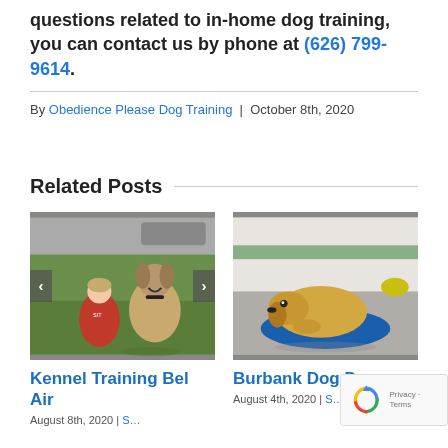questions related to in-home dog training, you can contact us by phone at (626) 799-9614.
By Obedience Please Dog Training | October 8th, 2020
Related Posts
[Figure (photo): Woman in red shirt crouching next to a large fluffy dog outdoors on grass]
Kennel Training Bel Air
August 8th, 2020
[Figure (photo): Yellow Labrador dog lying on a blue cushion/pillow indoors in a daycare setting]
Burbank Dog Daycare
August 4th, 2020